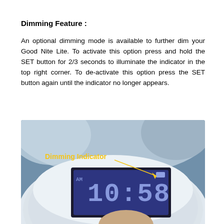Dimming Feature :
An optional dimming mode is available to further dim your Good Nite Lite. To activate this option press and hold the SET button for 2/3 seconds to illuminate the indicator in the top right corner. To de-activate this option press the SET button again until the indicator no longer appears.
[Figure (photo): Photo of a Good Nite Lite alarm clock showing the LCD display reading '10:58 AM' with a 'Dimming Indicator' label in yellow text pointing with an arrow to the top-right corner of the LCD display.]